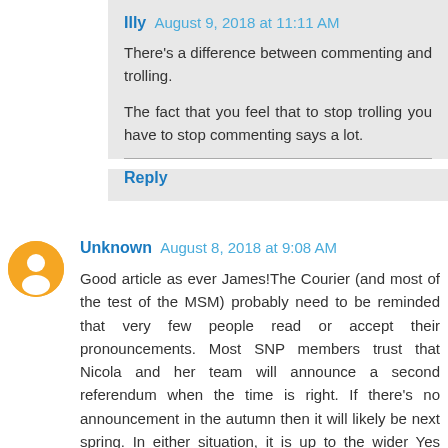Illy August 9, 2018 at 11:11 AM
There's a difference between commenting and trolling.
The fact that you feel that to stop trolling you have to stop commenting says a lot.
Reply
Unknown August 8, 2018 at 9:08 AM
Good article as ever James!The Courier (and most of the test of the MSM) probably need to be reminded that very few people read or accept their pronouncements. Most SNP members trust that Nicola and her team will announce a second referendum when the time is right. If there's no announcement in the autumn then it will likely be next spring. In either situation, it is up to the wider Yes movement to be building the case for Independence so that we can win the prize for our country!